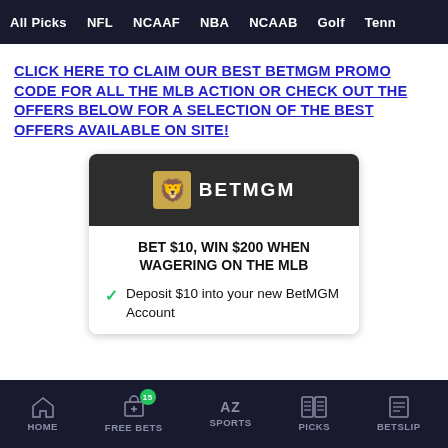All Picks  NFL  NCAAF  NBA  NCAAB  Golf  Tenn
CLICK HERE TO CLAIM OUR BEST BETMGM PROMO CODE FOR ALL THE MLB ACTION OR CHECK OUT THE OFFERS BELOW FOR A SELECTION OF THE BEST OFFERS AVAILABLE ON SITE!
[Figure (logo): BetMGM logo on dark background header]
BET $10, WIN $200 WHEN WAGERING ON THE MLB
Deposit $10 into your new BetMGM Account
HOME  FREE BETS (15)  SPORTS  PICKS  BETSLIP